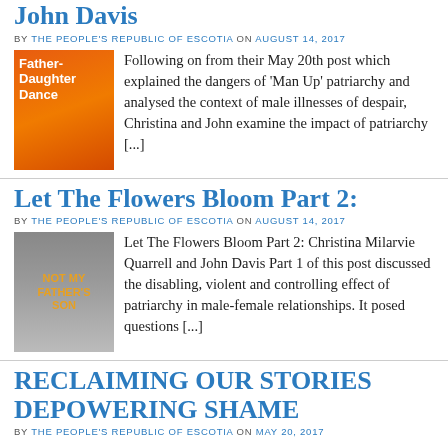John Davis
BY THE PEOPLE'S REPUBLIC OF ESCOTIA ON AUGUST 14, 2017
[Figure (illustration): Book cover: Father-Daughter Dance, orange background with title text]
Following on from their May 20th post which explained the dangers of ‘Man Up’ patriarchy and analysed the context of male illnesses of despair, Christina and John examine the impact of patriarchy [...]
Let The Flowers Bloom Part 2:
BY THE PEOPLE'S REPUBLIC OF ESCOTIA ON AUGUST 14, 2017
[Figure (illustration): Book cover: Not My Father's Son, black and white photo of a person with orange text]
Let The Flowers Bloom Part 2: Christina Milarvie Quarrell and John Davis Part 1 of this post discussed the disabling, violent and controlling effect of patriarchy in male-female relationships. It posed questions [...]
RECLAIMING OUR STORIES DEPOWERING SHAME
BY THE PEOPLE'S REPUBLIC OF ESCOTIA ON MAY 20, 2017
Christina Milarvie Quarrell is a Post...